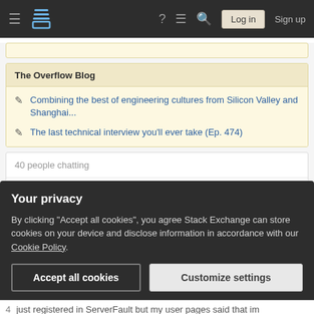Stack Exchange navigation bar with logo, help, chat, search icons, Log in and Sign up buttons
The Overflow Blog
Combining the best of engineering cultures from Silicon Valley and Shanghai...
The last technical interview you'll ever take (Ep. 474)
40 people chatting
The Gammo Room
Your privacy
By clicking "Accept all cookies", you agree Stack Exchange can store cookies on your device and disclose information in accordance with our Cookie Policy.
Accept all cookies | Customize settings
4  just registered in ServerFault but my user pages said that im